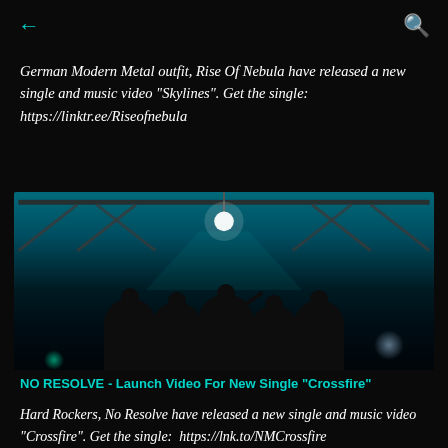← (back) and 🔍 (search)
German Modern Metal outfit, Rise Of Nebula have released a new single and music video "Skylines". Get the single: https://linktr.ee/Riseofnebula
[Figure (photo): Five band members silhouetted against a teal/blue-lit industrial ceiling with a bright spotlight and structural beams overhead]
NO RESOLVE - Launch Video For New Single "Crossfire"
Hard Rockers, No Resolve have released a new single and music video "Crossfire". Get the single:  https://lnk.to/NMCrossfire